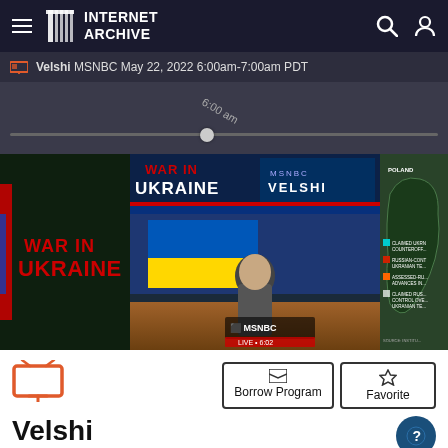Internet Archive
Velshi  MSNBC  May 22, 2022 6:00am-7:00am PDT
[Figure (screenshot): Video scrubber timeline showing 6:00 am marker with a circular handle on a dark background]
[Figure (screenshot): MSNBC Velshi broadcast screenshot showing host in studio with 'WAR IN UKRAINE' graphics, MSNBC logo, and a map panel on the right]
Borrow Program
Favorite
Velshi
MSNBC May 22, 2022 6:00am-7:00am PDT